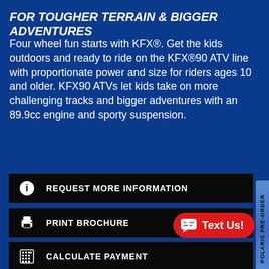FOR TOUGHER TERRAIN & BIGGER ADVENTURES
Four wheel fun starts with KFX®. Get the kids outdoors and ready to ride on the KFX®90 ATV line with proportionate power and size for riders ages 10 and older. KFX90 ATVs let kids take on more challenging tracks and bigger adventures with an 89.9cc engine and sporty suspension.
REQUEST MORE INFORMATION
PRINT BROCHURE
APPLY FOR FINANCING
CALCULATE PAYMENT